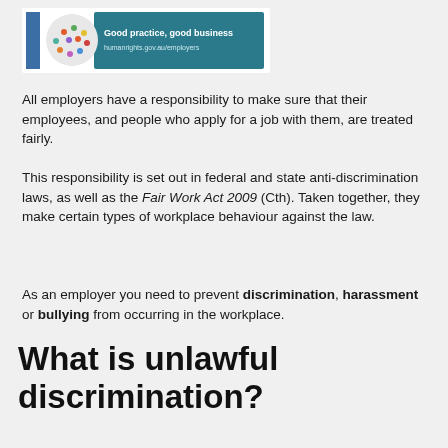[Figure (logo): Good practice, good business branding header with circular colourful people graphic and teal background with text 'Good practice, good business' and 'humanrights.gov.au/employers']
All employers have a responsibility to make sure that their employees, and people who apply for a job with them, are treated fairly.
This responsibility is set out in federal and state anti-discrimination laws, as well as the Fair Work Act 2009 (Cth). Taken together, they make certain types of workplace behaviour against the law.
As an employer you need to prevent discrimination, harassment or bullying from occurring in the workplace.
What is unlawful discrimination?